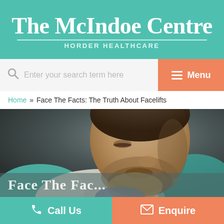The McIndoe Centre
HORDER HEALTHCARE
Enter your search term here
Menu
Home » Face The Facts: The Truth About Facelifts
[Figure (photo): Close-up photo of a bearded male doctor or surgeon looking downward, wearing a white coat with a teal/turquoise collar or scarf. Background is dark and out of focus.]
Face The Fac...
Call Us
Enquire